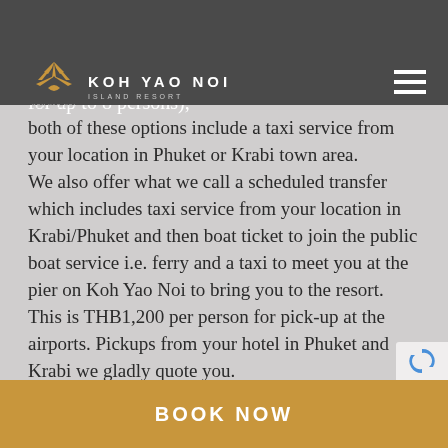longtail boat direct to our resort beach front for THB 4,000 (total for up to 6 persons) or a private speedboat transfer for THB12,000 (total for up to 8 persons), both of these options include a taxi service from your location in Phuket or Krabi town area.
We also offer what we call a scheduled transfer which includes taxi service from your location in Krabi/Phuket and then boat ticket to join the public boat service i.e. ferry and a taxi to meet you at the pier on Koh Yao Noi to bring you to the resort. This is THB1,200 per person for pick-up at the airports. Pickups from your hotel in Phuket and Krabi we gladly quote you. Please note that if you wish to travel utilizing the public boat service then the last boat departs both
BOOK NOW